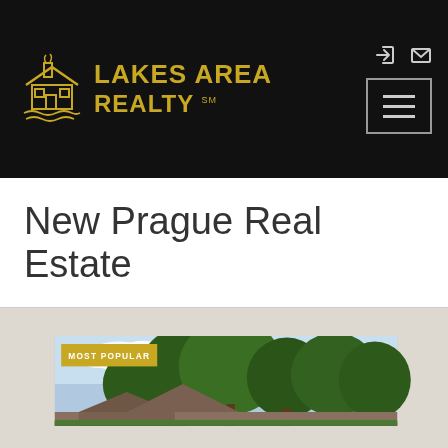Lakes Area Realty
New Prague Real Estate
[Figure (photo): Outdoor photo of a residential property with large green trees and blue sky, showing rooftop of a house at the bottom. A 'MOST POPULAR' badge overlay in gold/yellow appears in the upper left corner of the photo.]